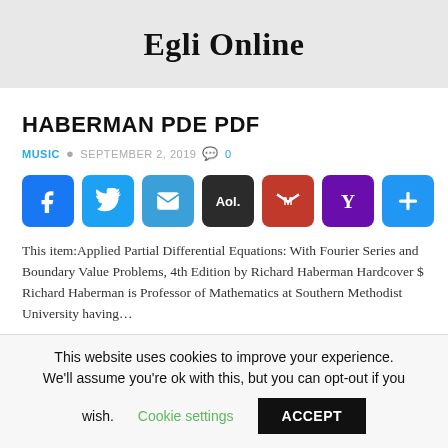Egli Online
HABERMAN PDE PDF
MUSIC  ©  SEPTEMBER 2, 2019  💬  0
[Figure (other): Social share buttons: Facebook, Twitter, Email, AOL, Gmail, Yahoo, Plus]
This item:Applied Partial Differential Equations: With Fourier Series and Boundary Value Problems, 4th Edition by Richard Haberman Hardcover $ Richard Haberman is Professor of Mathematics at Southern Methodist University having…
This website uses cookies to improve your experience. We'll assume you're ok with this, but you can opt-out if you wish.  Cookie settings  ACCEPT